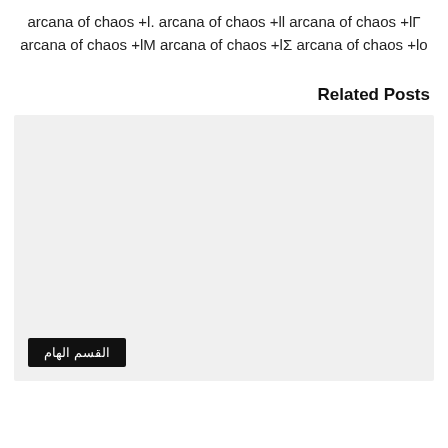arcana of chaos +l. arcana of chaos +ll arcana of chaos +lΓ arcana of chaos +lΜ arcana of chaos +lΣ arcana of chaos +lo
Related Posts
[Figure (other): Gray placeholder box for a related post image with an Arabic category tag 'القسم الهام' at bottom left]